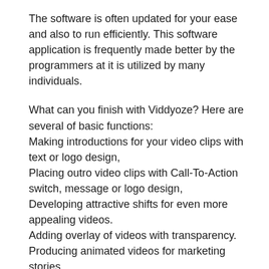The software is often updated for your ease and also to run efficiently. This software application is frequently made better by the programmers at it is utilized by many individuals.
What can you finish with Viddyoze? Here are several of basic functions:
Making introductions for your video clips with text or logo design,
Placing outro video clips with Call-To-Action switch, message or logo design,
Developing attractive shifts for even more appealing videos.
Adding overlay of videos with transparency.
Producing animated videos for marketing stories.
Clickable animations best inside the videos.
Watermark with your brand name's name or